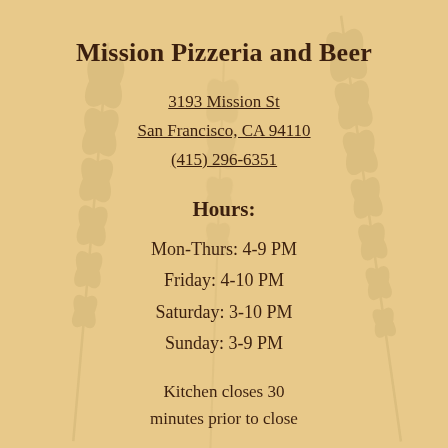Mission Pizzeria and Beer
3193 Mission St
San Francisco, CA 94110
(415) 296-6351
Hours:
Mon-Thurs: 4-9 PM
Friday: 4-10 PM
Saturday: 3-10 PM
Sunday: 3-9 PM
Kitchen closes 30 minutes prior to close
[Figure (illustration): Facebook and Instagram social media icons in dark brown squares]